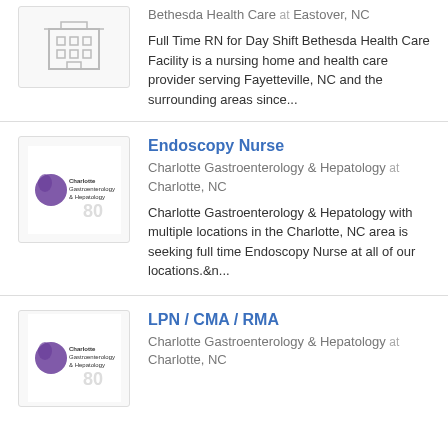[Figure (logo): Building/hospital icon placeholder logo]
Bethesda Health Care at Eastover, NC
Full Time RN for Day Shift Bethesda Health Care Facility is a nursing home and health care provider serving Fayetteville, NC and the surrounding areas since...
[Figure (logo): Charlotte Gastroenterology & Hepatology logo]
Endoscopy Nurse
Charlotte Gastroenterology & Hepatology at Charlotte, NC
Charlotte Gastroenterology & Hepatology with multiple locations in the Charlotte, NC area is seeking full time Endoscopy Nurse at all of our locations.&n...
[Figure (logo): Charlotte Gastroenterology & Hepatology logo]
LPN / CMA / RMA
Charlotte Gastroenterology & Hepatology at Charlotte, NC